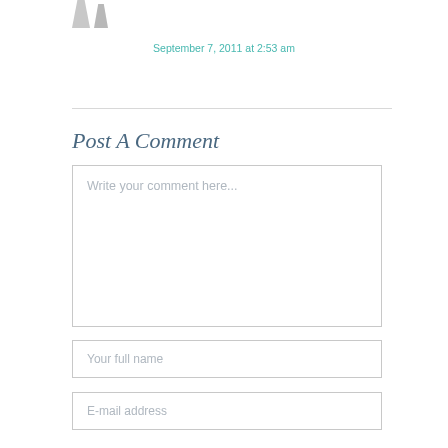[Figure (illustration): Partial avatar/silhouette shapes at top of page]
September 7, 2011 at 2:53 am
Post A Comment
Write your comment here...
Your full name
E-mail address